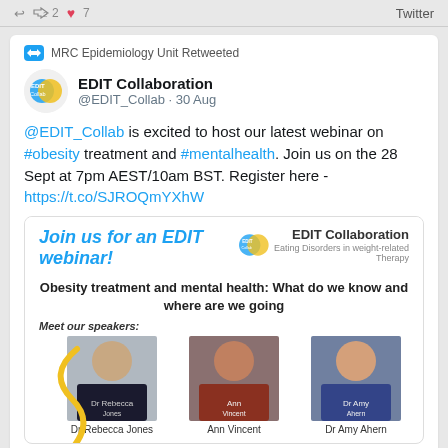↩ 🔁2 ♥7  Twitter
MRC Epidemiology Unit Retweeted
EDIT Collaboration @EDIT_Collab · 30 Aug
@EDIT_Collab is excited to host our latest webinar on #obesity treatment and #mentalhealth. Join us on the 28 Sept at 7pm AEST/10am BST. Register here - https://t.co/SJROQmYXhW
[Figure (screenshot): EDIT Collaboration webinar promotional card showing 'Join us for an EDIT webinar!' with the EDIT Collaboration logo, title 'Obesity treatment and mental health: What do we know and where are we going', and three speaker photos: Dr Rebecca Jones, Ann Vincent, Dr Amy Ahern]